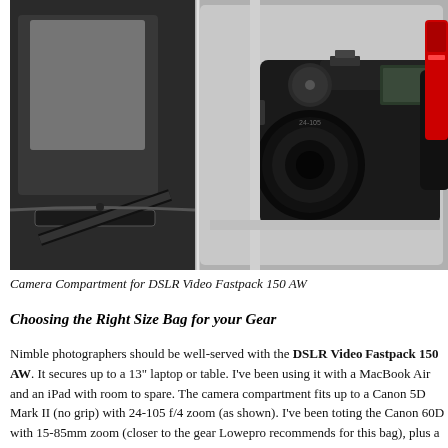[Figure (photo): Open camera bag showing DSLR camera and lenses in padded compartment with gray dividers, black exterior with zipper and straps visible on left]
Camera Compartment for DSLR Video Fastpack 150 AW
Choosing the Right Size Bag for your Gear
Nimble photographers should be well-served with the DSLR Video Fastpack 150 AW. It secures up to a 13" laptop or table. I've been using it with a MacBook Air and an iPad with room to spare. The camera compa- rtment fits up to a Canon 5D Mark II (no grip) with 24-105 f/4 zoom (as sho- wn). I've been toting the Canon 60D with 15-85mm zoom (closer to the gear Lowepro recommends for this bag), plus a Canon 320 EX flash (left side) and an Olympus PEN with 17mm f/2.8 lens (right side). If needed, I can store addi- tional lenses or another compact camera in the top personal compartment